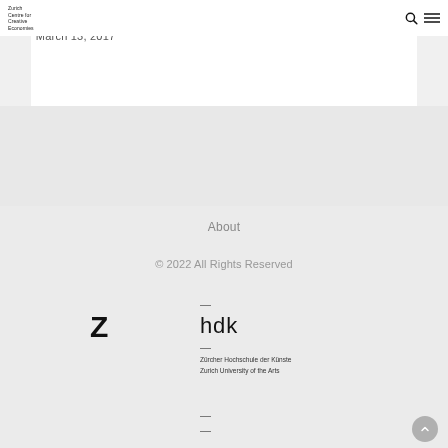Zurich Centre for Creative Economies
March 13, 2017
About
© 2022 All Rights Reserved
[Figure (logo): ZHdK logo: bold Z letter with hdk text and dashes, Zürcher Hochschule der Künste / Zurich University of the Arts]
Zürcher Hochschule der Künste
Zurich University of the Arts